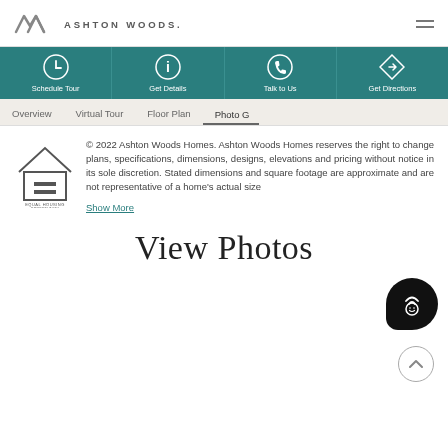AW ASHTON WOODS.
[Figure (infographic): Teal navigation bar with four items: Schedule Tour (clock icon), Get Details (info icon), Talk to Us (phone icon), Get Directions (arrow icon)]
[Figure (infographic): Tab navigation bar with: Overview, Virtual Tour, Floor Plan, Photo C (active tab with underline)]
[Figure (logo): Equal Housing Opportunity logo - house with equal sign]
© 2022 Ashton Woods Homes. Ashton Woods Homes reserves the right to change plans, specifications, dimensions, designs, elevations and pricing without notice in its sole discretion. Stated dimensions and square footage are approximate and are not representative of a home's actual size
Show More
View Photos